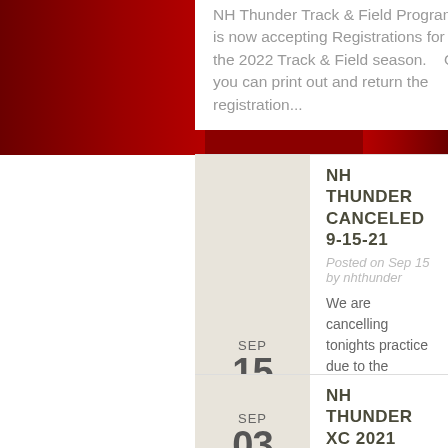NH Thunder Track & Field Program is now accepting Registrations for the 2022 Track & Field season.    Or you can print out and return the registration...
SEP
15
NH THUNDER CANCELED 9-15-21
Posted on Sep 15 by nhthunder
We are cancelling tonights practice due to the impending thunderstorms that are expected during our practice time. We look forward to seeing you all next week!!
SEP
03
NH THUNDER XC 2021
Posted on Sep 3 by nhthunder